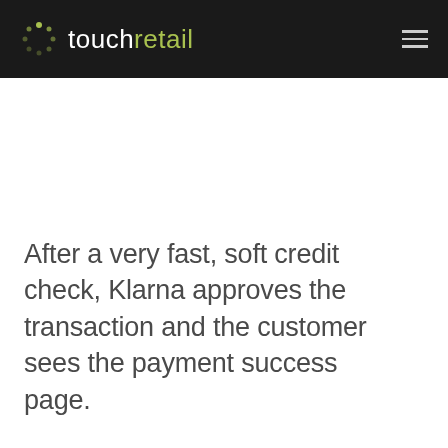touchretail
After a very fast, soft credit check, Klarna approves the transaction and the customer sees the payment success page.